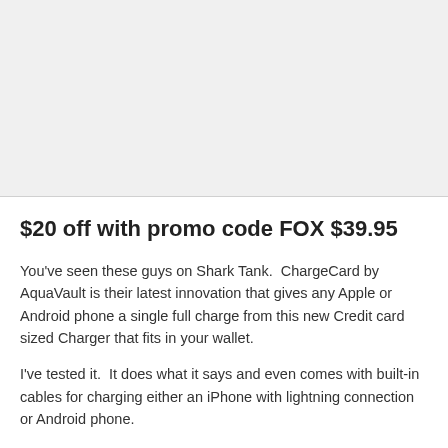$20 off with promo code FOX $39.95
You've seen these guys on Shark Tank.  ChargeCard by AquaVault is their latest innovation that gives any Apple or Android phone a single full charge from this new Credit card sized Charger that fits in your wallet.
I've tested it.  It does what it says and even comes with built-in cables for charging either an iPhone with lightning connection or Android phone.
These are in hot demand so make sure to use discount code FOX for $20 off for a limited time.
Get it here